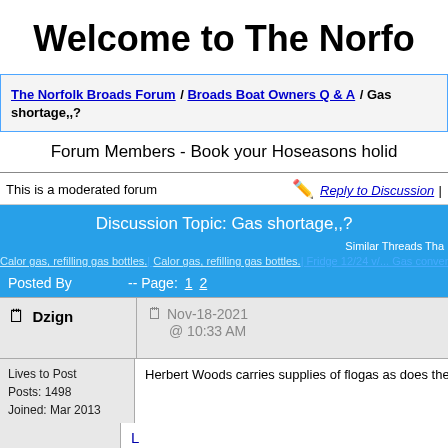Welcome to The Norfo
The Norfolk Broads Forum / Broads Boat Owners Q & A / Gas shortage,,?
Forum Members - Book your Hoseasons holid
This is a moderated forum   Reply to Discussion |
Discussion Topic: Gas shortage,,?
Similar Threads Tha
Calor gas, refilling gas bottles. | Calor gas, refilling gas bottles. | Fridge 12/24 v/... Gas conver...
Posted By  -- Page: 1 2
Dzign   Nov-18-2021 @ 10:33 AM
Lives to Post
Posts: 1498
Joined: Mar 2013
Herbert Woods carries supplies of flogas as does the sh